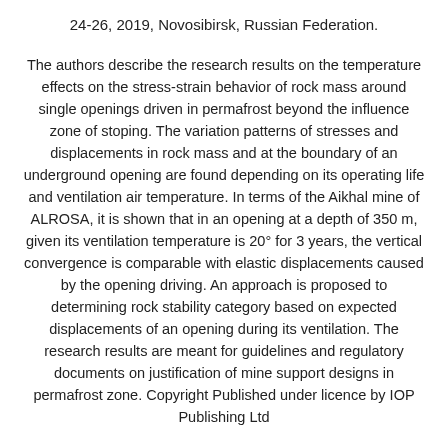24-26, 2019, Novosibirsk, Russian Federation.
The authors describe the research results on the temperature effects on the stress-strain behavior of rock mass around single openings driven in permafrost beyond the influence zone of stoping. The variation patterns of stresses and displacements in rock mass and at the boundary of an underground opening are found depending on its operating life and ventilation air temperature. In terms of the Aikhal mine of ALROSA, it is shown that in an opening at a depth of 350 m, given its ventilation temperature is 20° for 3 years, the vertical convergence is comparable with elastic displacements caused by the opening driving. An approach is proposed to determining rock stability category based on expected displacements of an opening during its ventilation. The research results are meant for guidelines and regulatory documents on justification of mine support designs in permafrost zone. Copyright Published under licence by IOP Publishing Ltd